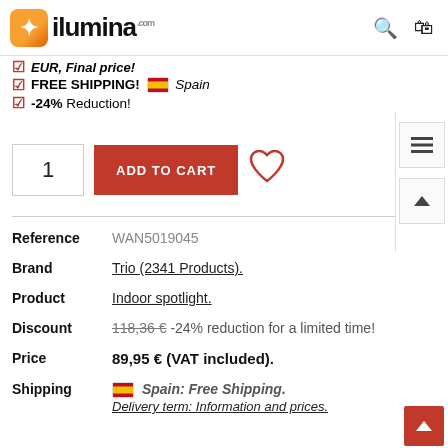ilumina
EUR, Final price!
FREE SHIPPING! 🇪🇸 Spain
-24% Reduction!
1  ADD TO CART  ♡
| Field | Value |
| --- | --- |
| Reference | WAN5019045 |
| Brand | Trio (2341 Products). |
| Product | Indoor spotlight. |
| Discount | 118,36 € -24% reduction for a limited time! |
| Price | 89,95 € (VAT included). |
| Shipping | 🇪🇸 Spain: Free Shipping. Delivery term: Information and prices. |